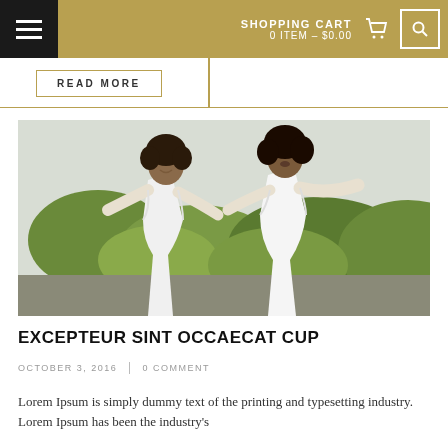SHOPPING CART 0 ITEM – $0.00
READ MORE
[Figure (photo): Two women wearing white outfits outdoors with trees in background, posing joyfully]
EXCEPTEUR SINT OCCAECAT CUP
OCTOBER 3, 2016 | 0 COMMENT
Lorem Ipsum is simply dummy text of the printing and typesetting industry. Lorem Ipsum has been the industry's